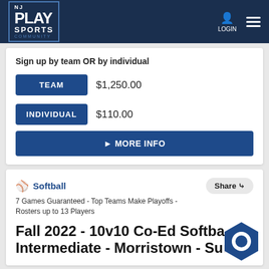NJ PLAY SPORTS COMMUNITY — LOGIN
Sign up by team OR by individual
TEAM   $1,250.00
INDIVIDUAL   $110.00
▶ MORE INFO
Softball
7 Games Guaranteed - Top Teams Make Playoffs - Rosters up to 13 Players
Fall 2022 - 10v10 Co-Ed Softball Intermediate - Morristown - Su...